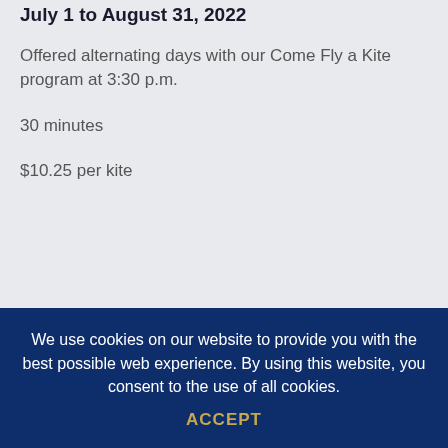July 1 to August 31, 2022
Offered alternating days with our Come Fly a Kite program at 3:30 p.m.
30 minutes
$10.25 per kite
We use cookies on our website to provide you with the best possible web experience. By using this website, you consent to the use of all cookies.
ACCEPT